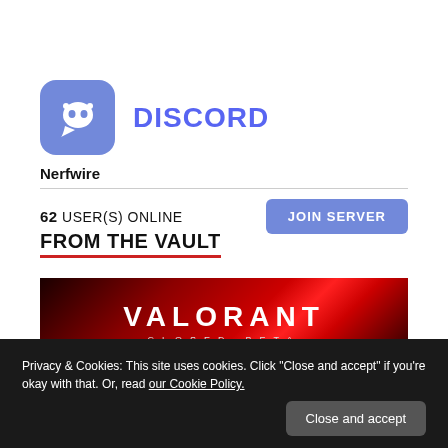[Figure (logo): Discord logo icon (purple rounded square with white controller/ghost face) and DISCORD wordmark in blue]
Nerfwire
62 USER(S) ONLINE
JOIN SERVER
FROM THE VAULT
[Figure (screenshot): VALORANT CLOSED_BETA game banner image with red and dark background]
Privacy & Cookies: This site uses cookies. Click "Close and accept" if you're okay with that. Or, read our Cookie Policy.
Close and accept